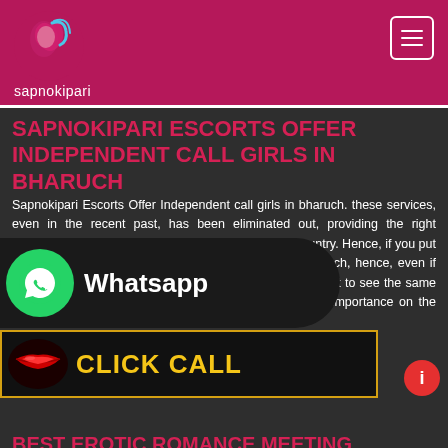[Figure (logo): Sapnokipari logo with stylized woman face icon and text 'sapnokipari' on dark pink/magenta background]
SAPNOKIPARI ESCORTS OFFER INDEPENDENT CALL GIRLS IN BHARUCH
Sapnokipari Escorts Offer Independent call girls in bharuch. these services, even in the recent past, has been eliminated out, providing the right ambiance for the flourish of escort services, across the country. Hence, if you put some minimum effort and search for escorts in Bharuch, hence, even if you hire girls from us, it is for sure that you would not get to see the same face, again and again. All of our girls give the highest importance on the aspect of client satisfaction,
[Figure (infographic): WhatsApp overlay with green WhatsApp icon circle and 'Whatsapp' text label on dark background]
[Figure (infographic): Phone number bar showing +91 8140592453 in blue text on dark background]
BEST EROTIC ROMANCE MEETING WITH BHARUCH ESCORTS
[Figure (infographic): Click Call banner with red lips icon and yellow 'CLICK CALL' text on black background with gold border]
service with bharuch Escorts. you can certainly explore the best girls. However, even if the picture